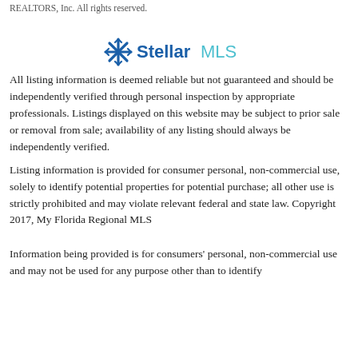REALTORS, Inc. All rights reserved.
[Figure (logo): Stellar MLS logo with blue snowflake/star icon and text 'Stellar MLS' in blue]
All listing information is deemed reliable but not guaranteed and should be independently verified through personal inspection by appropriate professionals. Listings displayed on this website may be subject to prior sale or removal from sale; availability of any listing should always be independently verified.
Listing information is provided for consumer personal, non-commercial use, solely to identify potential properties for potential purchase; all other use is strictly prohibited and may violate relevant federal and state law. Copyright 2017, My Florida Regional MLS
Information being provided is for consumers' personal, non-commercial use and may not be used for any purpose other than to identify